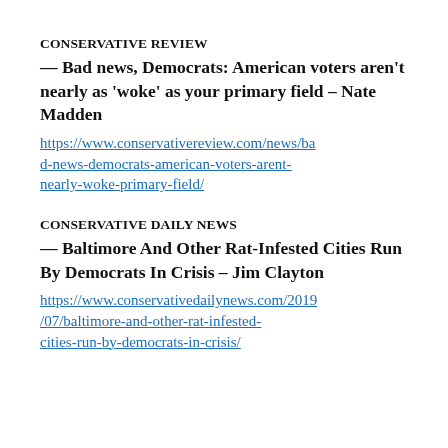CONSERVATIVE REVIEW
— Bad news, Democrats: American voters aren't nearly as 'woke' as your primary field – Nate Madden
https://www.conservativereview.com/news/bad-news-democrats-american-voters-arent-nearly-woke-primary-field/
CONSERVATIVE DAILY NEWS
— Baltimore And Other Rat-Infested Cities Run By Democrats In Crisis – Jim Clayton
https://www.conservativedailynews.com/2019/07/baltimore-and-other-rat-infested-cities-run-by-democrats-in-crisis/